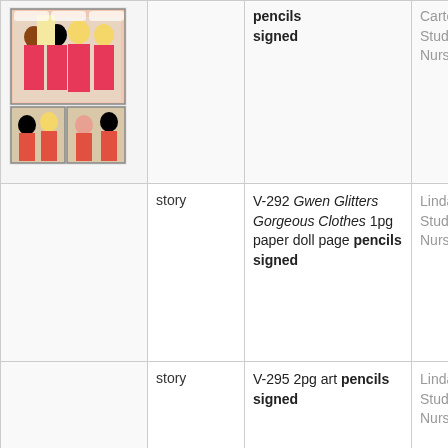[Figure (illustration): Comic book page thumbnail showing nurses in pink uniforms in a hospital/kitchen setting, with additional panels showing female characters talking]
| Image | Type | Description | Title |
| --- | --- | --- | --- |
| [comic image] |  | pencils signed | Carter, Student Nurse 1 |
|  | story | V-292 Gwen Glitters Gorgeous Clothes 1pg paper doll page pencils signed | Linda Carter, Student Nurse 1 |
|  | story | V-295 2pg art pencils signed | Linda Carter, Student Nurse 1 |